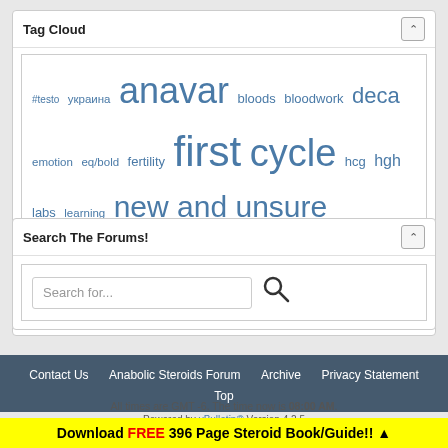Tag Cloud
#testo украина anavar bloods bloodwork deca emotion eq/bold fertility first cycle hcg hgh labs learning new and unsure orderadderallonline pct perseverance sanity sides stack sust test testosterone testosterone cypionate testoviron tren trt ukraine volumize
Search The Forums!
Search for...
Contact Us  Anabolic Steroids Forum  Archive  Privacy Statement  Top
All times are GMT -6. The time now is 08:00 AM.
Powered by vBulletin® Version 4.2.5
Copyright © 2022 vBulletin Solutions Inc. All rights reserved.
Download FREE 396 Page Steroid Book/Guide!! ▲